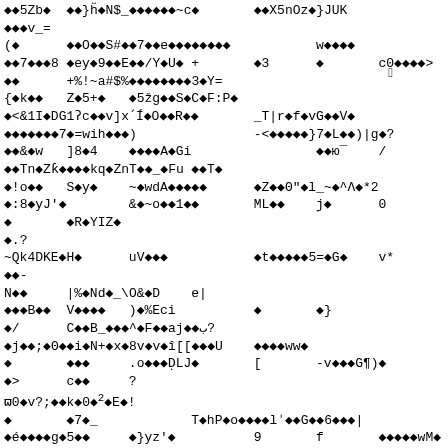Corrupted/encoded binary or garbled text content displaying a mix of diamond replacement characters (indicating unrecognized encoding), ASCII punctuation, alphanumeric characters, and special symbols across approximately 25 lines. The content appears to be a binary file or encoded data rendered as text with encoding errors.